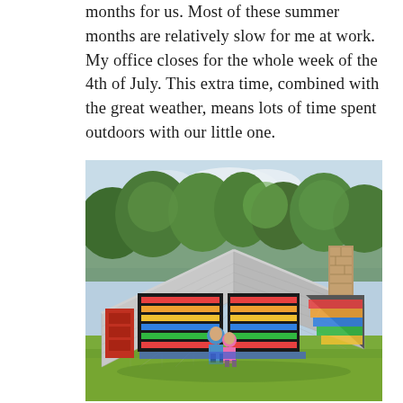months for us. Most of these summer months are relatively slow for me at work. My office closes for the whole week of the 4th of July. This extra time, combined with the great weather, means lots of time spent outdoors with our little one.
[Figure (photo): Outdoor photo of a unique architectural structure resembling an upside-down or split-roof house/playground structure with colorful horizontal slat panels visible underneath the sloping roof. Two people (an adult and a child) are seated inside the open structure. Trees and a sunny sky are visible in the background, and green grass is in the foreground.]